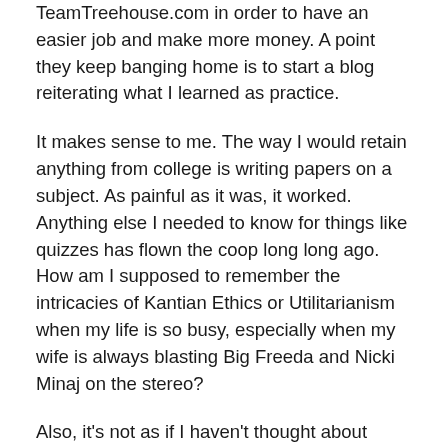TeamTreehouse.com in order to have an easier job and make more money. A point they keep banging home is to start a blog reiterating what I learned as practice.
It makes sense to me. The way I would retain anything from college is writing papers on a subject. As painful as it was, it worked. Anything else I needed to know for things like quizzes has flown the coop long long ago. How am I supposed to remember the intricacies of Kantian Ethics or Utilitarianism when my life is so busy, especially when my wife is always blasting Big Freeda and Nicki Minaj on the stereo?
Also, it's not as if I haven't thought about coming back to my blog sooner. I have a moleskin book full of ideas that I never acted upon, including articles for Feastmas. I wanted to come back but then I had another dilemma. Am